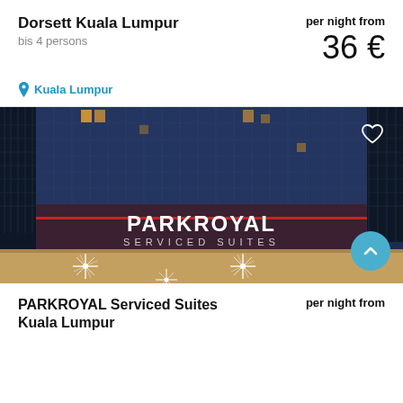Dorsett Kuala Lumpur
bis 4 persons
per night from
36 €
Kuala Lumpur
[Figure (photo): Night exterior photo of PARKROYAL Serviced Suites Kuala Lumpur building facade with illuminated sign and starburst lights at entrance canopy]
PARKROYAL Serviced Suites Kuala Lumpur
per night from